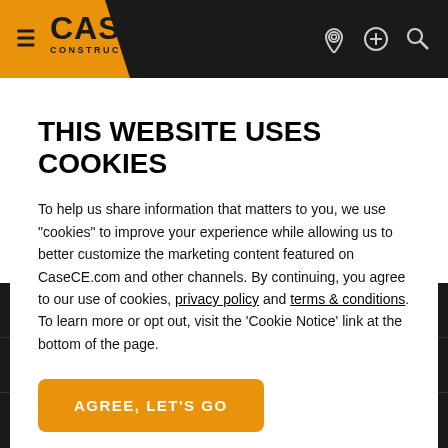[Figure (screenshot): CASE Construction website header with hamburger menu, CASE CONSTRUCTION logo on orange background, and navigation icons (location pin, plus/compare, search)]
THIS WEBSITE USES COOKIES
To help us share information that matters to you, we use "cookies" to improve your experience while allowing us to better customize the marketing content featured on CaseCE.com and other channels. By continuing, you agree to our use of cookies, privacy policy and terms & conditions. To learn more or opt out, visit the 'Cookie Notice' link at the bottom of the page.
AGREE, LET'S GO
RESOURCES
INSIDE CASE
MORE FROM CASE